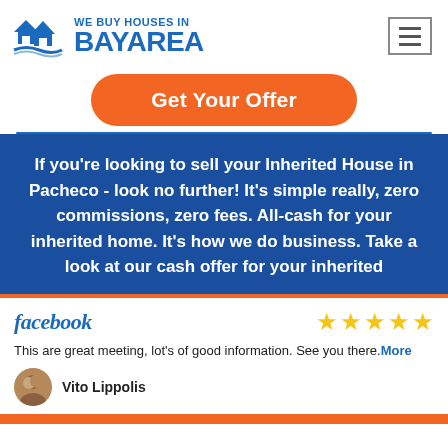[Figure (logo): We Buy Houses in Bay Area logo with house icon and blue text]
[Figure (other): Hamburger menu icon (three horizontal lines) in a bordered box]
Get Your Offer
If you're looking to sell your Inherited House in Pacheco - look no further! It's simple really, zero commissions, zero fees. All-cash for your inherited home. It's how we do business. Take a look at our cash offer for your inherited
[Figure (logo): Facebook logo text in blue]
[Figure (other): 5 yellow star rating]
This are great meeting, lot's of good information. See you there.More
[Figure (photo): Profile photo of reviewer Vito Lippolis]
Vito Lippolis